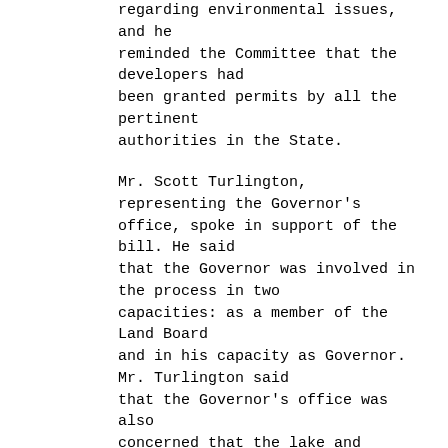regarding environmental issues, and he reminded the Committee that the developers had been granted permits by all the pertinent authorities in the State.
Mr. Scott Turlington, representing the Governor's office, spoke in support of the bill. He said that the Governor was involved in the process in two capacities: as a member of the Land Board and in his capacity as Governor. Mr. Turlington said that the Governor's office was also concerned that the lake and surrounding environment not be harmed by this development. He believes that sufficient safeguards have been instituted to protect them. The Governor is satisfied that the contract meets all these criteria.